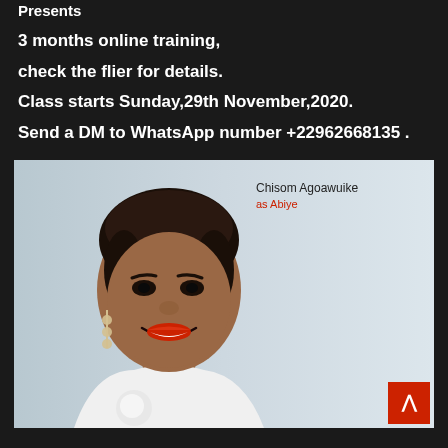Presents
3 months online training,
check the flier for details.
Class starts Sunday,29th November,2020.
Send a DM to WhatsApp number +22962668135 .
[Figure (photo): Portrait photo of a woman (Chisom Agoawuike as Abiye) smiling, wearing white dress with rose detail, dangling earrings, red lipstick, elegant updo hairstyle. Light blue/grey background. Name overlay in top right: 'Chisom Agoawuike' in dark text, 'as Abiye' in red text. Red back-to-top button with white arrow in bottom right corner.]